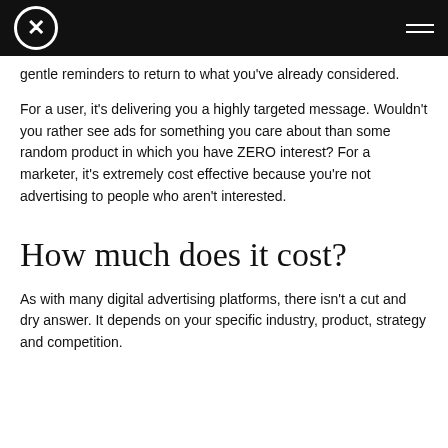gentle reminders to return to what you've already considered.
For a user, it's delivering you a highly targeted message. Wouldn't you rather see ads for something you care about than some random product in which you have ZERO interest? For a marketer, it's extremely cost effective because you're not advertising to people who aren't interested.
How much does it cost?
As with many digital advertising platforms, there isn't a cut and dry answer. It depends on your specific industry, product, strategy and competition.